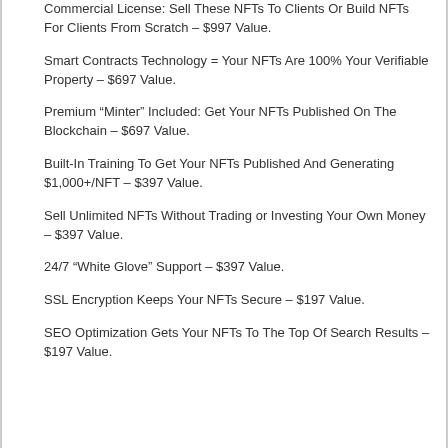Commercial License: Sell These NFTs To Clients Or Build NFTs For Clients From Scratch – $997 Value.
Smart Contracts Technology = Your NFTs Are 100% Your Verifiable Property – $697 Value.
Premium “Minter” Included: Get Your NFTs Published On The Blockchain – $697 Value.
Built-In Training To Get Your NFTs Published And Generating $1,000+/NFT – $397 Value.
Sell Unlimited NFTs Without Trading or Investing Your Own Money – $397 Value.
24/7 “White Glove” Support – $397 Value.
SSL Encryption Keeps Your NFTs Secure – $197 Value.
SEO Optimization Gets Your NFTs To The Top Of Search Results – $197 Value.